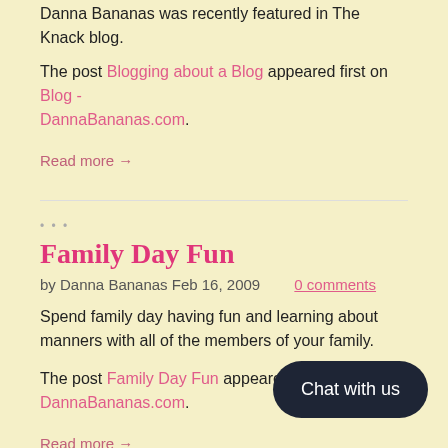Danna Bananas was recently featured in The Knack blog. The post Blogging about a Blog appeared first on Blog - DannaBananas.com.
Read more →
Family Day Fun
by Danna Bananas Feb 16, 2009   0 comments
Spend family day having fun and learning about manners with all of the members of your family.
The post Family Day Fun appeared first on Blog - DannaBananas.com.
Read more →